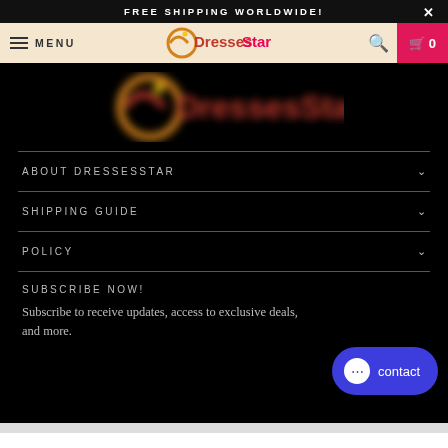FREE SHIPPING WORLDWIDE!
[Figure (screenshot): Navigation bar with hamburger menu (MENU), DressesStar logo in center, search icon, and pink cart button with 0 items]
[Figure (logo): DressesStar logo (large, blurred) on black background]
ABOUT DRESSESSTAR
SHIPPING GUIDE
POLICY
SUBSCRIBE NOW!
Subscribe to receive updates, access to exclusive deals, and more.
[Figure (other): Blue chat contact button with speech bubble icon and 'contact' text]